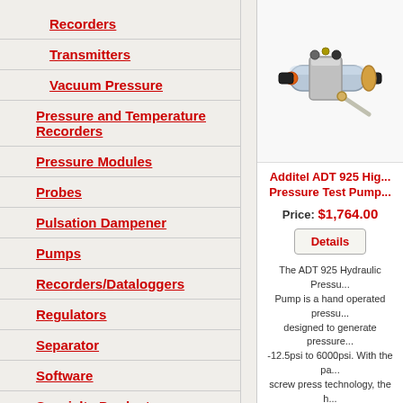Recorders
Transmitters
Vacuum Pressure
Pressure and Temperature Recorders
Pressure Modules
Probes
Pulsation Dampener
Pumps
Recorders/Dataloggers
Regulators
Separator
Software
Specialty Products
Spray Shield
[Figure (photo): Additel ADT 925 hydraulic pressure test pump - hand operated device with blue cylinder body, black handles, orange fittings, and brass/silver components]
Additel ADT 925 Hig... Pressure Test Pump...
Price: $1,764.00
Details
The ADT 925 Hydraulic Pressure Pump is a hand operated pressure designed to generate pressure -12.5psi to 6000psi. With the pa screw press technology, the pressure can be easily generated increased and decreased